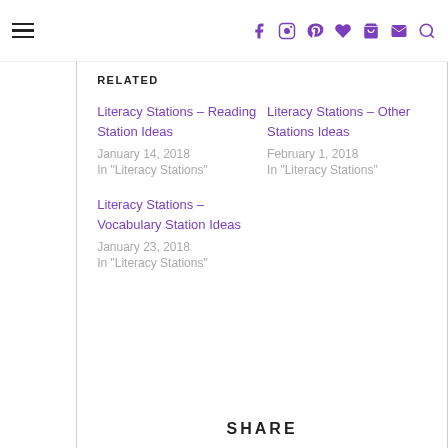Navigation header with hamburger menu and social icons
RELATED
Literacy Stations – Reading Station Ideas
January 14, 2018
In "Literacy Stations"
Literacy Stations – Other Stations Ideas
February 1, 2018
In "Literacy Stations"
Literacy Stations – Vocabulary Station Ideas
January 23, 2018
In "Literacy Stations"
SHARE